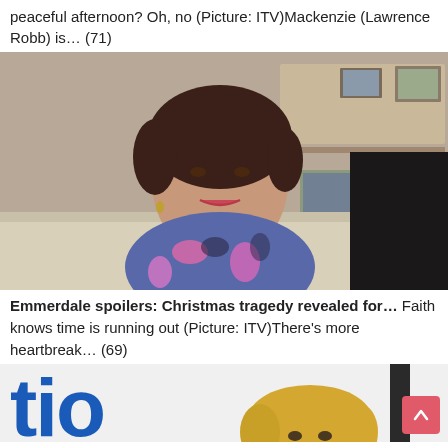peaceful afternoon? Oh, no (Picture: ITV)Mackenzie (Lawrence Robb) is... (71)
[Figure (photo): Woman in a floral blue and pink top sitting on a sofa in a living room, with shelves holding framed photos in the background. A TV remote is visible on the shelf.]
Emmerdale spoilers: Christmas tragedy revealed for... Faith knows time is running out (Picture: ITV)There’s more heartbreak... (69)
[Figure (photo): Partial view of a blonde woman standing in front of a sign with large blue letters 'tio', with a salmon/pink scroll-to-top button in the bottom right corner.]